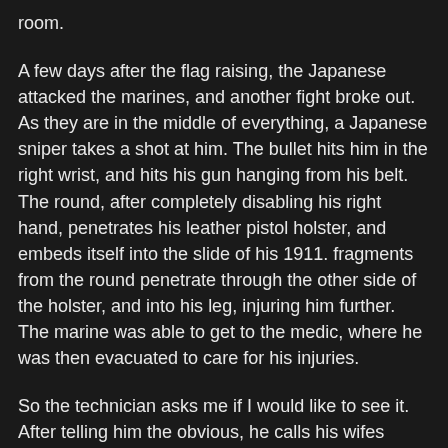room.
A few days after the flag raising, the Japanese attacked the marines, and another fight broke out. As they are in the middle of everything, a Japanese sniper takes a shot at him. The bullet hits him in the right wrist, and hits his gun hanging from his belt. The round, after completely disabling his right hand, penetrates his leather pistol holster, and embeds itself into the slide of his 1911. fragments from the round penetrate through the other side of the holster, and into his leg, injuring him further.
The marine was able to get to the medic, where he was then evacuated to care for his injuries.
So the technician asks me if I would like to see it. After telling him the obvious, he calls his wifes brother and asks if he could bring it up to the shop.
Here are the pictures I took after listening to the